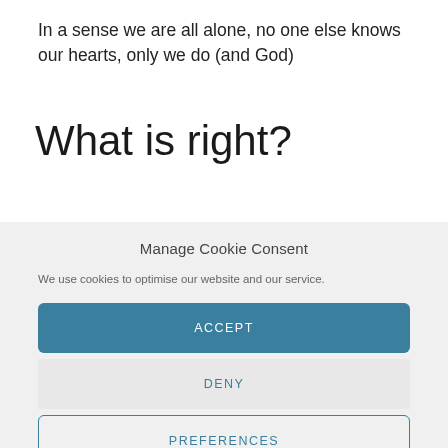In a sense we are all alone, no one else knows our hearts, only we do (and God)
What is right?
Manage Cookie Consent
We use cookies to optimise our website and our service.
ACCEPT
DENY
PREFERENCES